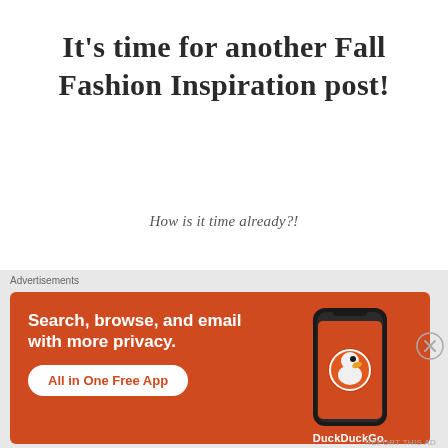It's time for another Fall Fashion Inspiration post!
How is it time already?!
But alas....fall fashion is simply my favorite.
[Figure (screenshot): DuckDuckGo advertisement banner with orange background showing 'Search, browse, and email with more privacy. All in One Free App' with a phone graphic and DuckDuckGo logo]